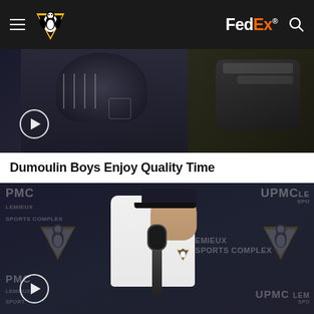Pittsburgh Penguins navigation bar with hamburger menu, Penguins logo, FedEx sponsor logo, and search icon
[Figure (photo): Video thumbnail showing Pittsburgh Penguins players in black jerseys with hockey equipment, with a play button overlay]
Dumoulin Boys Enjoy Quality Time
[Figure (photo): Video thumbnail showing a Pittsburgh Penguins player in a white long-sleeve shirt at a UPMC Lemieux Sports Complex press conference podium, with play button overlay]